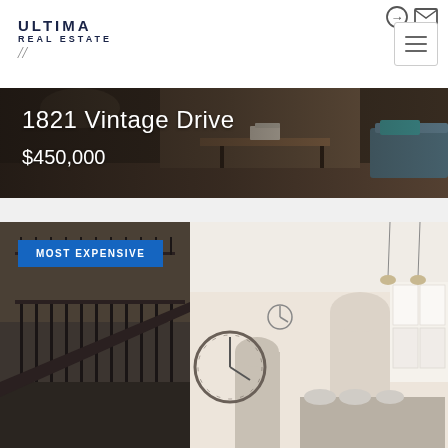[Figure (logo): Ultima Real Estate logo in navy blue with script accent]
[Figure (photo): Interior living room photo showing a dark-toned room with coffee table books, with text overlay showing property address 1821 Vintage Drive and price $450,000]
1821 Vintage Drive
$450,000
[Figure (photo): Interior photo of a luxury home showing a two-story entryway with wrought iron staircase railing, arched doorways, and open kitchen area with white cabinetry. Labeled with MOST EXPENSIVE badge.]
MOST EXPENSIVE